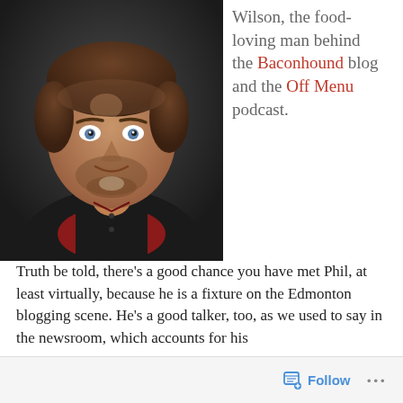[Figure (photo): Portrait photo of Phil Wilson, a man with brown hair and stubble beard wearing a red shirt and black vest, against a dark background]
Wilson, the food-loving man behind the Baconhound blog and the Off Menu podcast.
Truth be told, there's a good chance you have met Phil, at least virtually, because he is a fixture on the Edmonton blogging scene. He's a good talker, too, as we used to say in the newsroom, which accounts for his
Follow ...